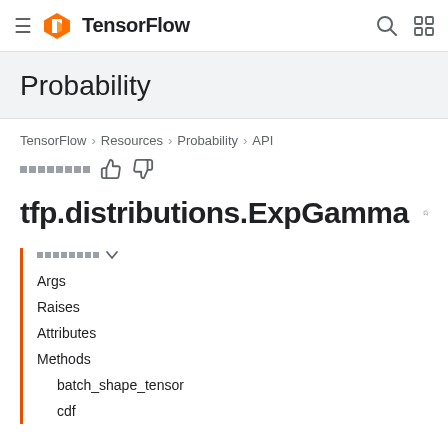TensorFlow (logo) — Search icon — Grid icon
Probability
TensorFlow > Resources > Probability > API
Feedback squares — thumbs up — thumbs down
tfp.distributions.ExpGamma
Args
Raises
Attributes
Methods
batch_shape_tensor
cdf